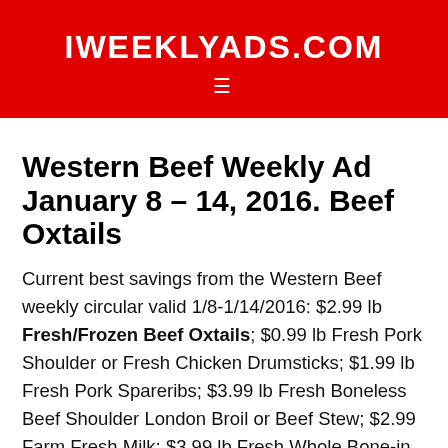IWEEKLYADS.COM
Western Beef Weekly Ad January 8 – 14, 2016. Beef Oxtails
Current best savings from the Western Beef weekly circular valid 1/8-1/14/2016: $2.99 lb Fresh/Frozen Beef Oxtails; $0.99 lb Fresh Pork Shoulder or Fresh Chicken Drumsticks; $1.99 lb Fresh Pork Spareribs; $3.99 lb Fresh Boneless Beef Shoulder London Broil or Beef Stew; $2.99 Farm Fresh Milk; $3.99 lb Fresh Whole Bone-in Beef Short Ribs; $3.99 lb Fresh